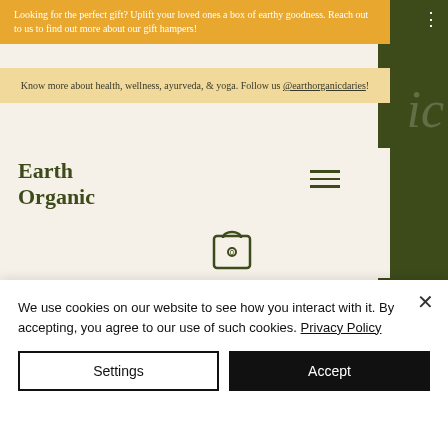Looking for the perfect gift? Uplift your loved ones a box of earthy goodness. Reach out to us to find out more about our gift hampers!
Know more about health, wellness, ayurveda, & yoga. Follow us @earthorganicdaries!
Earth Organic
[Figure (illustration): Hamburger menu icon (three horizontal lines)]
[Figure (illustration): Shopping bag icon with number 0]
According to the seasonal (Ritu's) understanding in Ayurveda, there are six Ritus or Seasons. Ayurveda specifies what is the be done in...
We use cookies on our website to see how you interact with it. By accepting, you agree to our use of such cookies. Privacy Policy
Settings
Accept